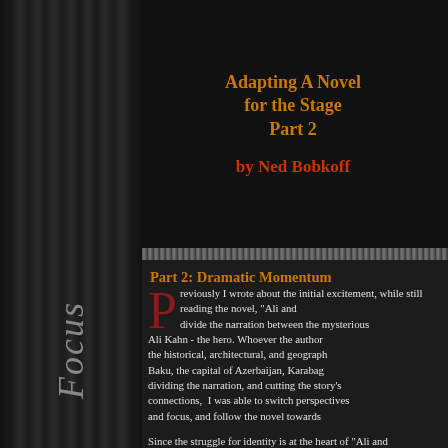Adapting A Novel for the Stage
Part 2
by Ned Bobkoff
Part 2: Dramatic Momentum
Previously I wrote about the initial excitement, while still reading the novel, "Ali and Nino", to divide the narration between the mysterious narrator and Ali Kahn - the hero. Whoever the author is, the historical, architectural, and geographical details of Baku, the capital of Azerbaijan, Karabag.., by dividing the narration, and cutting the story's connections, I was able to switch perspectives and focus, and follow the novel towards
Since the struggle for identity is at the heart of "Ali and Nino", I felt that the action should be both... Performers moving from one locale to the next is a scene. To keep everyone close to the action, as being incorporated into the play as many scenes; allowing for rapid scene and pro